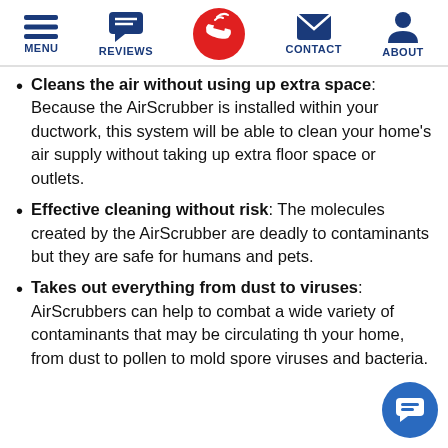MENU | REVIEWS | (phone) | CONTACT | ABOUT
Cleans the air without using up extra space: Because the AirScrubber is installed within your ductwork, this system will be able to clean your home's air supply without taking up extra floor space or outlets.
Effective cleaning without risk: The molecules created by the AirScrubber are deadly to contaminants but they are safe for humans and pets.
Takes out everything from dust to viruses: AirScrubbers can help to combat a wide variety of contaminants that may be circulating through your home, from dust to pollen to mold spores, viruses and bacteria.